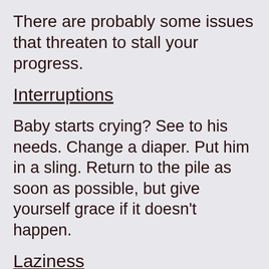There are probably some issues that threaten to stall your progress.
Interruptions
Baby starts crying? See to his needs. Change a diaper. Put him in a sling. Return to the pile as soon as possible, but give yourself grace if it doesn't happen.
Laziness
If you are in the habit of 15 minutes of chores daily, this is likely not a problem